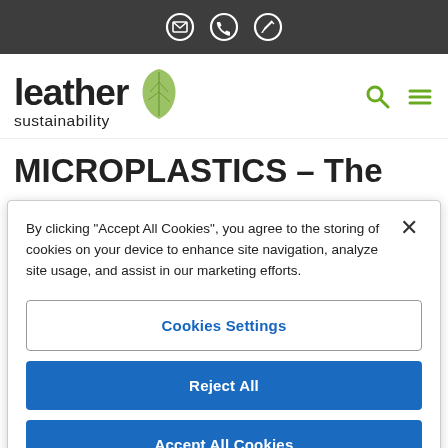Top navigation bar with email, phone, and edit icons
[Figure (logo): Leather Sustainability logo with green leaf icon, search icon and hamburger menu]
MICROPLASTICS – The unseen pollution of our time?
By clicking "Accept All Cookies", you agree to the storing of cookies on your device to enhance site navigation, analyze site usage, and assist in our marketing efforts.
Cookies Settings
Reject All
Accept All Cookies